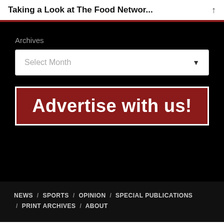Taking a Look at The Food Networ...
Archives
Select Month
[Figure (other): Advertise with us! banner in dark red with white bold text]
NEWS / SPORTS / OPINION / SPECIAL PUBLICATIONS / PRINT ARCHIVES / ABOUT